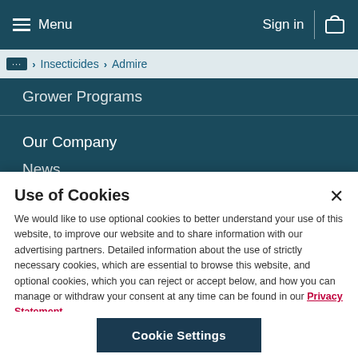Menu | Sign in | Cart
... > Insecticides > Admire
Grower Programs
Our Company
News
Use of Cookies
We would like to use optional cookies to better understand your use of this website, to improve our website and to share information with our advertising partners. Detailed information about the use of strictly necessary cookies, which are essential to browse this website, and optional cookies, which you can reject or accept below, and how you can manage or withdraw your consent at any time can be found in our Privacy Statement
Cookie Settings